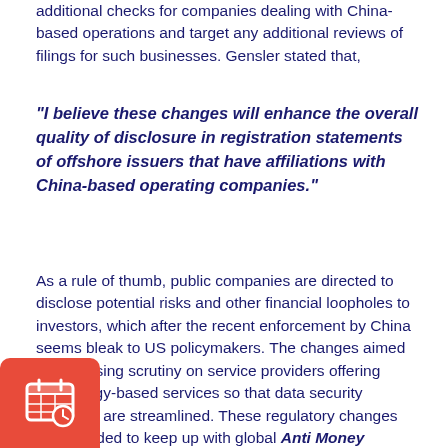additional checks for companies dealing with China-based operations and target any additional reviews of filings for such businesses. Gensler stated that,
"I believe these changes will enhance the overall quality of disclosure in registration statements of offshore issuers that have affiliations with China-based operating companies."
As a rule of thumb, public companies are directed to disclose potential risks and other financial loopholes to investors, which after the recent enforcement by China seems bleak to US policymakers. The changes aimed at increasing scrutiny on service providers offering technology-based services so that data security protocols are streamlined. These regulatory changes are intended to keep up with global Anti Money Laundering and data protection obligations.
[Figure (illustration): Red rounded square icon with a calendar and clock symbol in white]